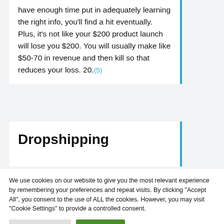have enough time put in adequately learning the right info, you'll find a hit eventually. Plus, it's not like your $200 product launch will lose you $200. You will usually make like $50-70 in revenue and then kill so that reduces your loss. 20.(5)
Dropshipping
We use cookies on our website to give you the most relevant experience by remembering your preferences and repeat visits. By clicking "Accept All", you consent to the use of ALL the cookies. However, you may visit "Cookie Settings" to provide a controlled consent.